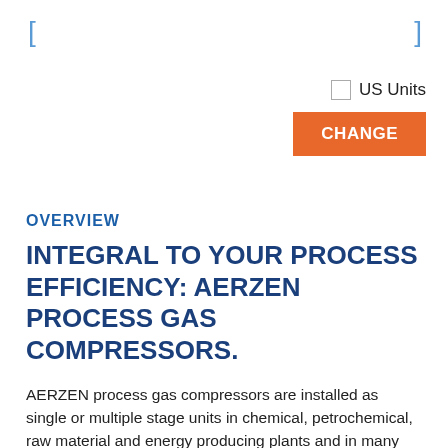[ ]
US Units
CHANGE
OVERVIEW
INTEGRAL TO YOUR PROCESS EFFICIENCY: AERZEN PROCESS GAS COMPRESSORS.
AERZEN process gas compressors are installed as single or multiple stage units in chemical, petrochemical, raw material and energy producing plants and in many other